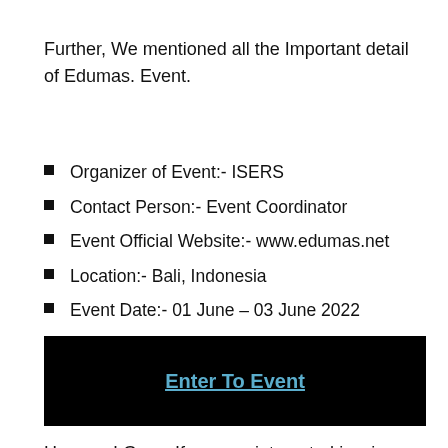Further, We mentioned all the Important detail of Edumas. Event.
Organizer of Event:- ISERS
Contact Person:- Event Coordinator
Event Official Website:- www.edumas.net
Location:- Bali, Indonesia
Event Date:- 01 June – 03 June 2022
Category of this Event:- Education & Career
[Figure (other): Black banner with 'Enter To Event' link in teal/blue underlined text]
Hurry up! Guys, If you are interested in wines then, Don't